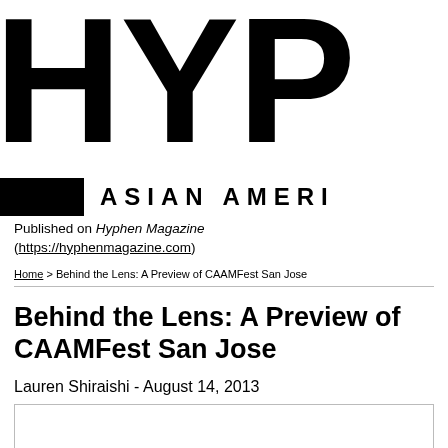HYP
ASIAN AMERI
Published on Hyphen Magazine (https://hyphenmagazine.com)
Home > Behind the Lens: A Preview of CAAMFest San Jose
Behind the Lens: A Preview of CAAMFest San Jose
Lauren Shiraishi - August 14, 2013
[Figure (other): Image box placeholder at bottom of page]